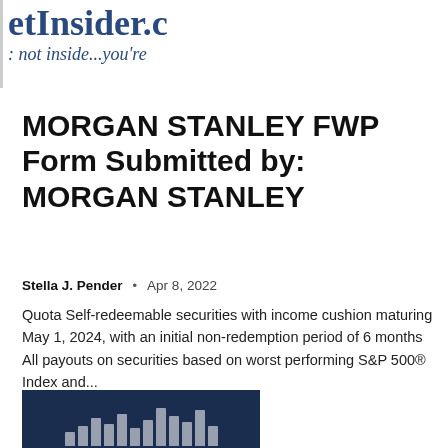etInsider.c · not inside...you're
MORGAN STANLEY FWP Form Submitted by: MORGAN STANLEY
Stella J. Pender · Apr 8, 2022
Quota Self-redeemable securities with income cushion maturing May 1, 2024, with an initial non-redemption period of 6 months All payouts on securities based on worst performing S&P 500® Index and...
[Figure (logo): Dark navy blue banner with Morgan Stanley logo bars partially visible at bottom]